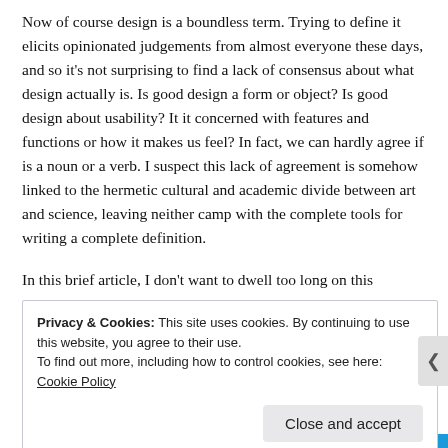Now of course design is a boundless term. Trying to define it elicits opinionated judgements from almost everyone these days, and so it’s not surprising to find a lack of consensus about what design actually is. Is good design a form or object? Is good design about usability? It it concerned with features and functions or how it makes us feel? In fact, we can hardly agree if is a noun or a verb. I suspect this lack of agreement is somehow linked to the hermetic cultural and academic divide between art and science, leaving neither camp with the complete tools for writing a complete definition.
In this brief article, I don’t want to dwell too long on this
Privacy & Cookies: This site uses cookies. By continuing to use this website, you agree to their use.
To find out more, including how to control cookies, see here: Cookie Policy